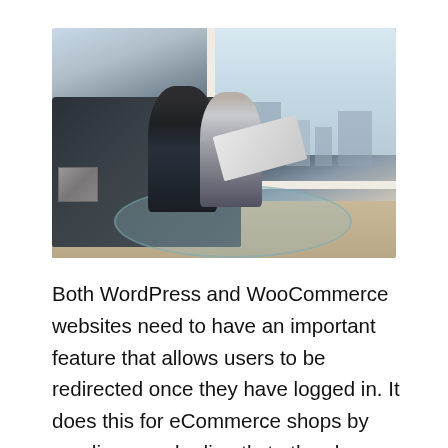[Figure (photo): Two business professionals, a man in a suit and a woman, sitting on a dark leather sofa in a modern high-rise office or apartment, looking at a document or laptop together. A glass coffee table is in the foreground, and large floor-to-ceiling windows show a city skyline in the background.]
Both WordPress and WooCommerce websites need to have an important feature that allows users to be redirected once they have logged in. It does this for eCommerce shops by sending people directly to the shop page or to a page showcasing special discounts (coupons), which